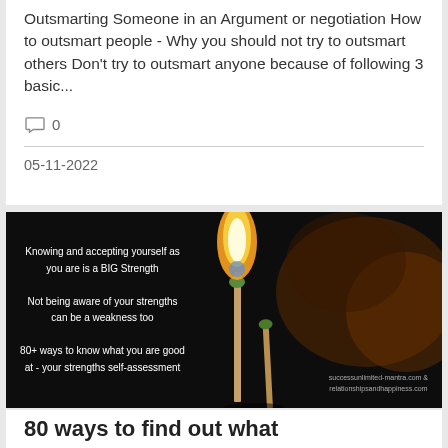Outsmarting Someone in an Argument or negotiation How to outsmart people - Why you should not try to outsmart others Don't try to outsmart anyone because of following 3 basic...
0
05-11-2022
[Figure (photo): Dark background photo of a lit match with flame, with motivational text overlay about knowing your strengths. Text reads: Knowing and accepting yourself as you are is a BIG Strength / Not being aware of your strengths can be a weakness too / 80+ ways to know what you are good at - your strengths self-assessment. Watermark: successunlimited-mantra.com & relationshipsandhappiness.com]
80 ways to find out what